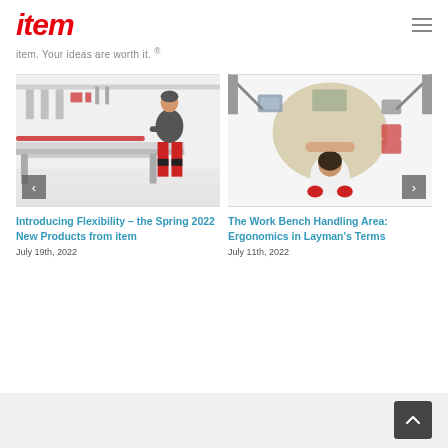item
item. Your ideas are worth it. ®
[Figure (photo): Person in grey shirt and red work trousers standing at an industrial aluminium workbench in a lab or factory environment, viewed from the side]
[Figure (photo): Overhead/top-down view of a person working at a round table with a handling area, surrounded by industrial components and equipment]
Introducing Flexibility – the Spring 2022 New Products from item
July 19th, 2022
The Work Bench Handling Area: Ergonomics in Layman's Terms
July 11th, 2022